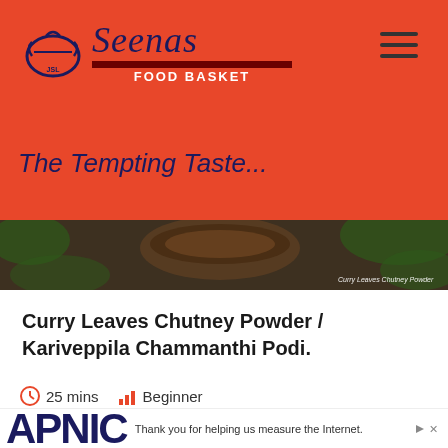[Figure (logo): Seenas Food Basket logo with circular pot icon and stylized script text]
The Tempting Taste...
[Figure (photo): Close-up photo of curry leaves chutney powder in a dark bowl with green leaves in background. Caption: Curry Leaves Chutney Powder]
Curry Leaves Chutney Powder / Kariveppila Chammanthi Podi.
25 mins   Beginner
revious
APNIC  Thank you for helping us measure the Internet.